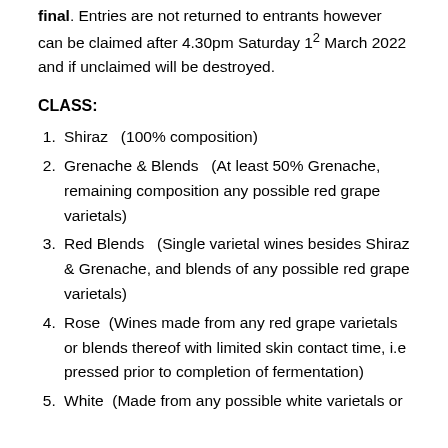final. Entries are not returned to entrants however can be claimed after 4.30pm Saturday 12 March 2022 and if unclaimed will be destroyed.
CLASS:
Shiraz   (100% composition)
Grenache & Blends   (At least 50% Grenache, remaining composition any possible red grape varietals)
Red Blends   (Single varietal wines besides Shiraz & Grenache, and blends of any possible red grape varietals)
Rose  (Wines made from any red grape varietals or blends thereof with limited skin contact time, i.e pressed prior to completion of fermentation)
White  (Made from any possible white varietals or